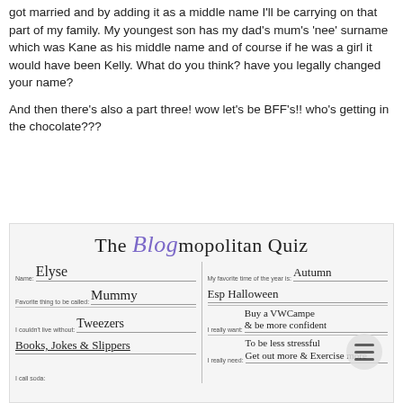got married and by adding it as a middle name I'll be carrying on that part of my family. My youngest son has my dad's mum's 'nee' surname which was Kane as his middle name and of course if he was a girl it would have been Kelly. What do you think? have you legally changed your name?
And then there's also a part three! wow let's be BFF's!! who's getting in the chocolate???
[Figure (infographic): The Blogmopolitan Quiz filled out by Elyse. Fields include: Name: Elyse, Favorite thing to be called: Mummy, I couldn't live without: Tweezers, Books, Jokes & Slippers, I call soda: [cut off], My favorite time of the year is: Autumn Esp Halloween, I really want: Buy a VWCampe & be more confident, I really need: To be less stressful Get out more & Exercise more]